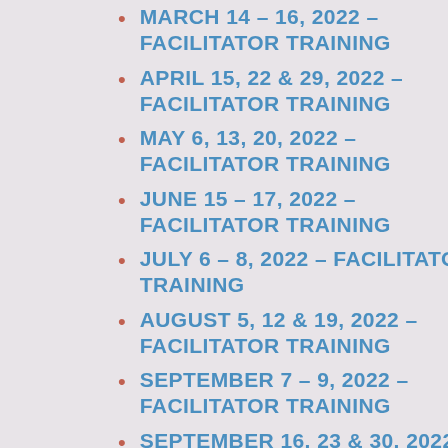MARCH 14 – 16, 2022 – FACILITATOR TRAINING
APRIL 15, 22 & 29, 2022 – FACILITATOR TRAINING
MAY 6, 13, 20, 2022 – FACILITATOR TRAINING
JUNE 15 – 17, 2022 – FACILITATOR TRAINING
JULY 6 – 8, 2022 – FACILITATOR TRAINING
AUGUST 5, 12 & 19, 2022 – FACILITATOR TRAINING
SEPTEMBER 7 – 9, 2022 – FACILITATOR TRAINING
SEPTEMBER 16, 23 & 30, 2022 – FACILITATOR TRAINING
OCTOBER 5 – 7, 2022 –